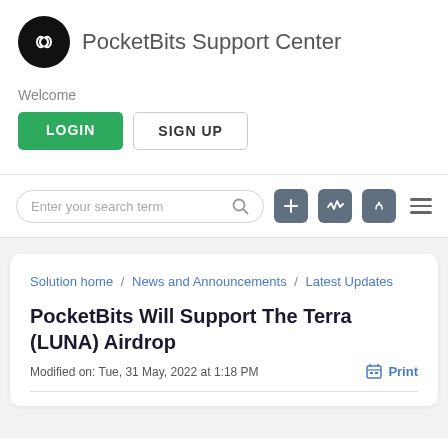PocketBits Support Center
Welcome
LOGIN   SIGN UP
[Figure (screenshot): Search bar with placeholder 'Enter your search term' and toolbar icons: plus, activity/pulse, phone, and hamburger menu]
Solution home / News and Announcements / Latest Updates
PocketBits Will Support The Terra (LUNA) Airdrop
Modified on: Tue, 31 May, 2022 at 1:18 PM